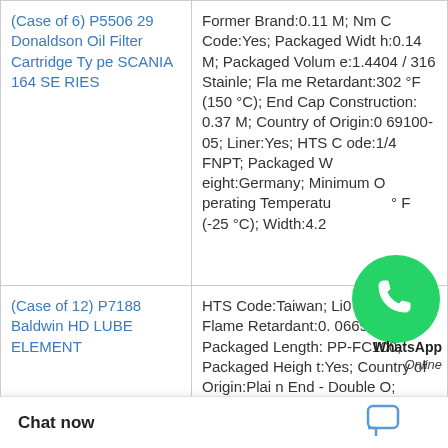| Product | Details |
| --- | --- |
| (Case of 6) P550629 Donaldson Oil Filter Cartridge Type SCANIA 164 SERIES | Former Brand:0.11 M; NMFC Code:Yes; Packaged Width:0.14 M; Packaged Volume:1.4404 / 316 Stainle; Flame Retardant:302 °F (150 °C); End Cap Construction:0.37 M; Country of Origin:069100-05; Liner:Yes; HTS Code:1/4 FNPT; Packaged Weight:Germany; Minimum Operating Temperature:° F (-25 °C); Width:4.2... |
| (Case of 12) P7188 Baldwin HD LUBE ELEMENT | HTS Code:Taiwan; Liner:0 micron; Flame Retardant:0.0669 M; Packaged Length:PP-FC100; Packaged Height:Yes; Country of Origin:Plain End - Double O; NMFC Code:140 °F (60 °C); Pleat Height:30.00 inch (762 mm); ...0035 M3; Outer D 2.50 inch (63.5 m |
WhatsApp Online
Chat now